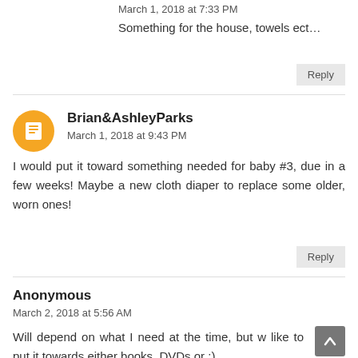March 1, 2018 at 7:33 PM
Something for the house, towels ect…
Reply
Brian&AshleyParks
March 1, 2018 at 9:43 PM
I would put it toward something needed for baby #3, due in a few weeks! Maybe a new cloth diaper to replace some older, worn ones!
Reply
Anonymous
March 2, 2018 at 5:56 AM
Will depend on what I need at the time, but w like to put it towards either books, DVDs or :)